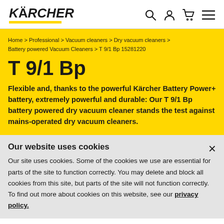KÄRCHER
Home > Professional > Vacuum cleaners > Dry vacuum cleaners > Battery powered Vacuum Cleaners > T 9/1 Bp 15281220
T 9/1 Bp
Flexible and, thanks to the powerful Kärcher Battery Power+ battery, extremely powerful and durable: Our T 9/1 Bp battery powered dry vacuum cleaner stands the test against mains-operated dry vacuum cleaners.
Our website uses cookies
Our site uses cookies. Some of the cookies we use are essential for parts of the site to function correctly. You may delete and block all cookies from this site, but parts of the site will not function correctly. To find out more about cookies on this website, see our privacy policy.